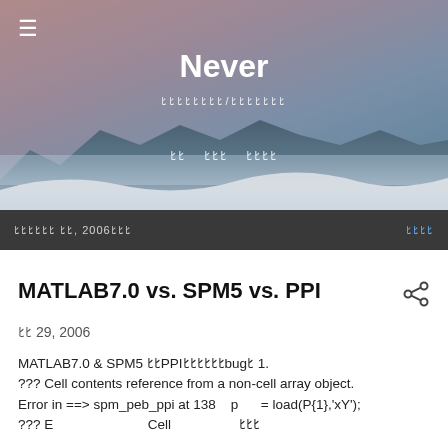[Figure (photo): Hero banner with mountain landscape at dusk/sunset — muted pink and blue tones, sand dunes or white sands in foreground, mountain ridge in background]
Never
ββββββββ/βββββββ
βΒ  βββ  ββββ
βββββββ ββ, 2006βββ
ββββ
MATLAB7.0 vs. SPM5 vs. PPI
ββ 29, 2006
MATLAB7.0 & SPM5 ββPPIββββββbugβ 1.
??? Cell contents reference from a non-cell array object.
Error in ==> spm_peb_ppi at 138    p      = load(P{1},'xY');
??? Β error then something about Cell array...